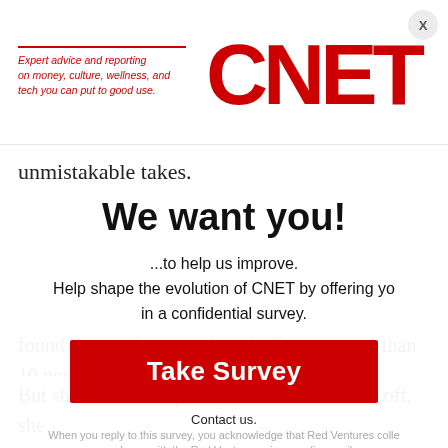[Figure (logo): CNET logo with red text and italic tagline 'Expert advice and reporting on money, culture, wellness, and tech you can put to good use.']
unmistakable takes.
We want you!
...to help us improve. Help shape the evolution of CNET by offering yo... in a confidential survey.
Take Survey
Contact us.
When you reply to this survey, you acknowledge that Red Ventures colle... accordance with the Red Ventures privacy policy availa...
found them to be cheap knockoffs worth less than 10 percent of their sale prices.
But she was not surprised. Whether online or off, she